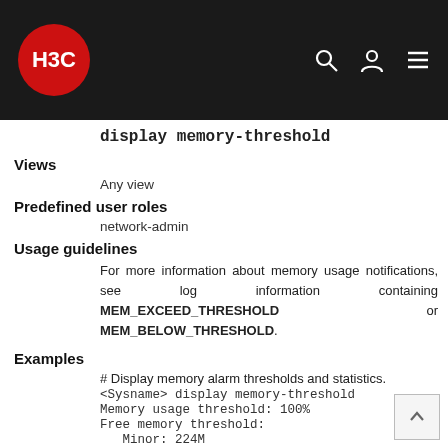H3C
display memory-threshold
Views
Any view
Predefined user roles
network-admin
Usage guidelines
For more information about memory usage notifications, see log information containing MEM_EXCEED_THRESHOLD or MEM_BELOW_THRESHOLD.
Examples
# Display memory alarm thresholds and statistics.
<Sysname> display memory-threshold
Memory usage threshold: 100%
Free memory threshold:
Minor: 224M